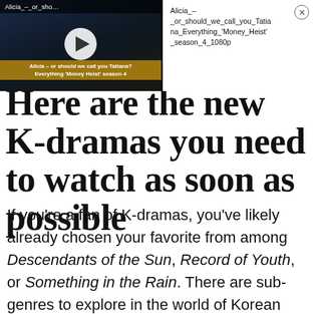[Figure (screenshot): Video player thumbnail showing dark scene with play button, labeled 'Alicia_-_or_sho...' at top, with subtitle text 'Alicia – or should we call you Tatiana? Everything Money Heist season 4']
Alicia_-_or_should_we_call_you_Tatiana_Everything_'Money_Heist'_season_4_1080p
Here are the new K-dramas you need to watch as soon as possible
If you're a fan of K-dramas, you've likely already chosen your favorite from among Descendants of the Sun, Record of Youth, or Something in the Rain. There are sub-genres to explore in the world of Korean dramas, too – you can have a dark comedy like Prison Playbook while also indulging